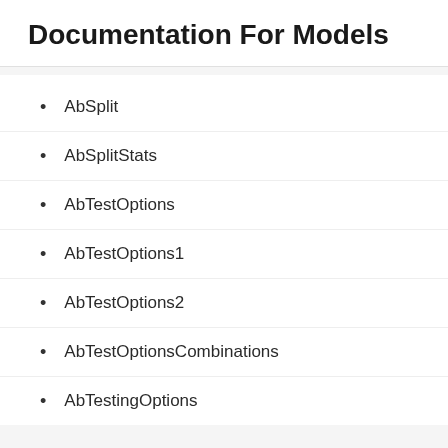Documentation For Models
AbSplit
AbSplitStats
AbTestOptions
AbTestOptions1
AbTestOptions2
AbTestOptionsCombinations
AbTestingOptions
Your Firm Should be Texting
Clio SMS Integration | Add Text Messaging to Clio Text Request
Open